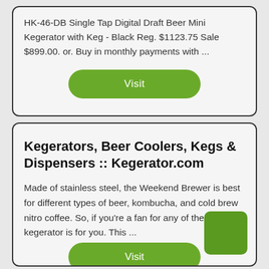HK-46-DB Single Tap Digital Draft Beer Mini Kegerator with Keg - Black Reg. $1123.75 Sale $899.00. or. Buy in monthly payments with ...
Visit
Kegerators, Beer Coolers, Kegs & Dispensers :: Kegerator.com
Made of stainless steel, the Weekend Brewer is best for different types of beer, kombucha, and cold brew nitro coffee. So, if you're a fan for any of these, this kegerator is for you. This ...